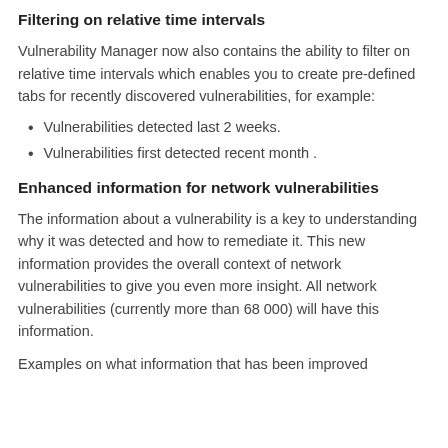Filtering on relative time intervals
Vulnerability Manager now also contains the ability to filter on relative time intervals which enables you to create pre-defined tabs for recently discovered vulnerabilities, for example:
Vulnerabilities detected last 2 weeks.
Vulnerabilities first detected recent month .
Enhanced information for network vulnerabilities
The information about a vulnerability is a key to understanding why it was detected and how to remediate it. This new information provides the overall context of network vulnerabilities to give you even more insight. All network vulnerabilities (currently more than 68 000) will have this information.
Examples on what information that has been improved